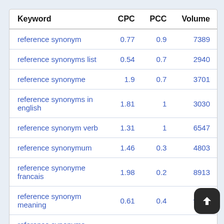| Keyword | CPC | PCC | Volume |
| --- | --- | --- | --- |
| reference synonym | 0.77 | 0.9 | 7389 |
| reference synonyms list | 0.54 | 0.7 | 2940 |
| reference synonyme | 1.9 | 0.7 | 3701 |
| reference synonyms in english | 1.81 | 1 | 3030 |
| reference synonym verb | 1.31 | 1 | 6547 |
| reference synonymum | 1.46 | 0.3 | 4803 |
| reference synonyme francais | 1.98 | 0.2 | 8913 |
| reference synonym meaning | 0.61 | 0.4 | 9918 |
| reference synonyms dictionary | 0.48 | 0.5 | 223 |
| reference synonym and antonym | 0.04 | 0.6 | 4623 |